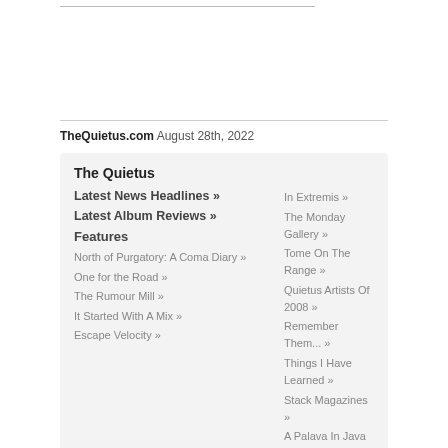TheQuietus.com August 28th, 2022
The Quietus
Latest News Headlines »
Latest Album Reviews »
Features
North of Purgatory: A Coma Diary »
One for the Road »
The Rumour Mill »
It Started With A Mix »
Escape Velocity »
In Extremis »
The Monday Gallery »
Tome On The Range »
Quietus Artists Of 2008 »
Remember Them... »
Things I Have Learned »
Stack Magazines »
A Palava In Java »
Rock's Backpages »
A Quietus Interview »
In Their Own Words »
The Spotify Playlist »
Sonic Router »
Dragnet »
In Conversation »
Autobahn »
The Quietus At Leisure »
Dr Rock »
Columnus Metallicus »
A Domino Halloween »
Beyond The Hits »